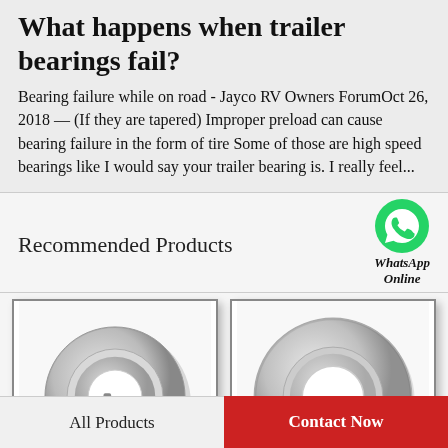What happens when trailer bearings fail?
Bearing failure while on road - Jayco RV Owners ForumOct 26, 2018 — (If they are tapered) Improper preload can cause bearing failure in the form of tire Some of those are high speed bearings like I would say your trailer bearing is. I really feel...
Recommended Products
[Figure (photo): WhatsApp Online button with green phone icon]
[Figure (photo): Small shielded ball bearing product photo]
[Figure (photo): Large shielded ball bearing product photo]
All Products | Contact Now